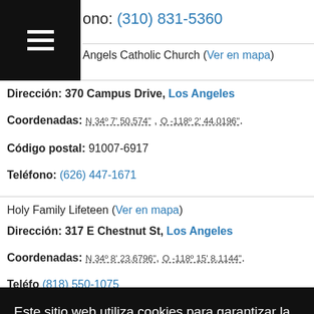Teléfono: (310) 831-5360
Angels Catholic Church (Ver en mapa)
Dirección: 370 Campus Drive, Los Angeles
Coordenadas: N 34º 7' 50.574" , O -118º 2' 44.0196".
Código postal: 91007-6917
Teléfono: (626) 447-1671
Holy Family Lifeteen (Ver en mapa)
Dirección: 317 E Chestnut St, Los Angeles
Coordenadas: N 34º 8' 23.6796" , O -118º 15' 8.1144".
Teléfono: (818) 550-1075
Este sitio web utiliza cookies para garantizar la mejor experiencia a los usuarios.
Más información
De acuerdo
Coordenadas: N 34º 5' 47.4576" , O -118º 18' 6.9696"